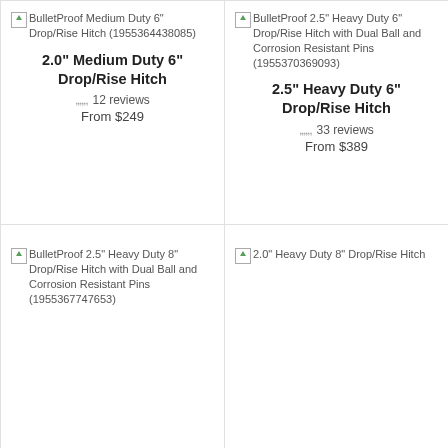[Figure (other): Product image placeholder: BulletProof Medium Duty 6" Drop/Rise Hitch (1955364438085)]
2.0" Medium Duty 6" Drop/Rise Hitch
12 reviews
From $249
[Figure (other): Product image placeholder: BulletProof 2.5" Heavy Duty 6" Drop/Rise Hitch with Dual Ball and Corrosion Resistant Pins (1955370369093)]
2.5" Heavy Duty 6" Drop/Rise Hitch
33 reviews
From $389
[Figure (other): Product image placeholder: BulletProof 2.5" Heavy Duty 8" Drop/Rise Hitch with Dual Ball and Corrosion Resistant Pins (1955367747653)]
[Figure (other): Product image placeholder: 2.0" Heavy Duty 8" Drop/Rise Hitch]